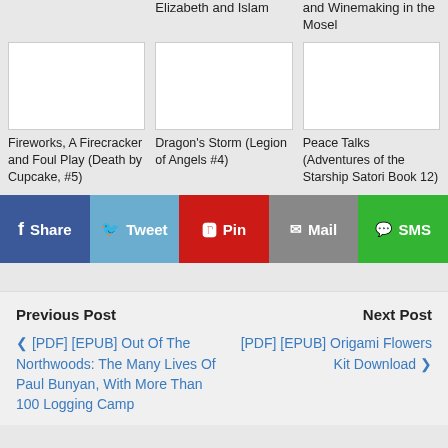Elizabeth and Islam
and Winemaking in the Mosel
[Figure (photo): Book cover placeholder (white rectangle)]
Fireworks, A Firecracker and Foul Play (Death by Cupcake, #5)
[Figure (photo): Book cover placeholder (white rectangle)]
Dragon's Storm (Legion of Angels #4)
[Figure (photo): Book cover placeholder (white rectangle)]
Peace Talks (Adventures of the Starship Satori Book 12)
Share
Tweet
Pin
Mail
SMS
Previous Post
Next Post
[PDF] [EPUB] Out Of The Northwoods: The Many Lives Of Paul Bunyan, With More Than 100 Logging Camp
[PDF] [EPUB] Origami Flowers Kit Download